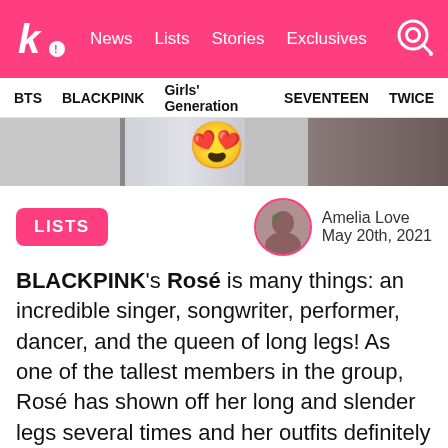k! News Lists Stories Exclusives
BTS BLACKPINK Girls' Generation SEVENTEEN TWICE
[Figure (photo): Banner image with emoji face with heart eyes on a grey/silver background]
LISTS
Amelia Love
May 20th, 2021
BLACKPINK's Rosé is many things: an incredible singer, songwriter, performer, dancer, and the queen of long legs! As one of the tallest members in the group, Rosé has shown off her long and slender legs several times and her outfits definitely help accentuate them! One fashion move that helps highlight her sexy legs is some cute thigh-high boots!